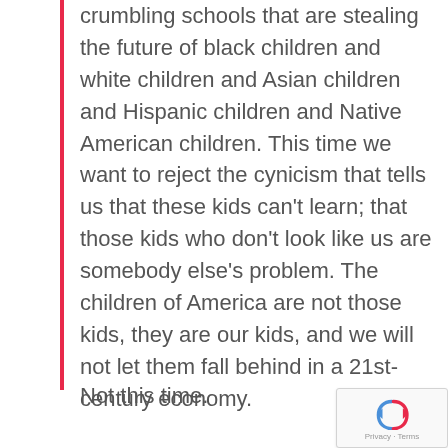crumbling schools that are stealing the future of black children and white children and Asian children and Hispanic children and Native American children. This time we want to reject the cynicism that tells us that these kids can't learn; that those kids who don't look like us are somebody else's problem. The children of America are not those kids, they are our kids, and we will not let them fall behind in a 21st-century economy.
Not this time.